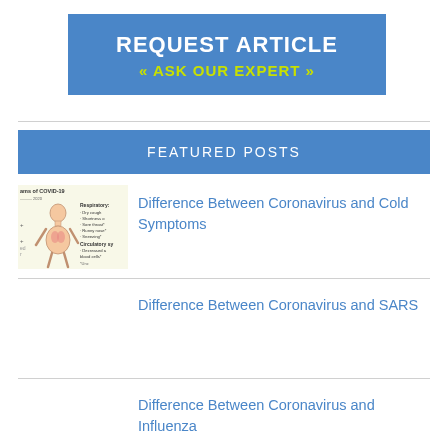REQUEST ARTICLE « ASK OUR EXPERT »
FEATURED POSTS
[Figure (illustration): Medical illustration showing symptoms of COVID-19 on a human body diagram with labels for respiratory and circulatory symptoms]
Difference Between Coronavirus and Cold Symptoms
Difference Between Coronavirus and SARS
Difference Between Coronavirus and Influenza